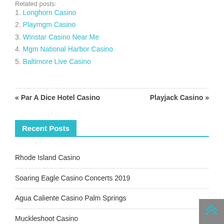Related posts:
1. Longhorn Casino
2. Playmgm Casino
3. Winstar Casino Near Me
4. Mgm National Harbor Casino
5. Baltimore Live Casino
« Par A Dice Hotel Casino    Playjack Casino »
Recent Posts
Rhode Island Casino
Soaring Eagle Casino Concerts 2019
Agua Caliente Casino Palm Springs
Muckleshoot Casino
Soboba Casino Restaurants